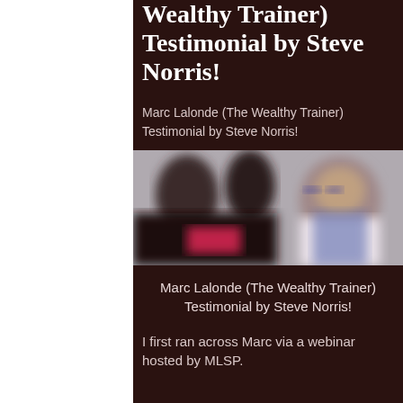Wealthy Trainer) Testimonial by Steve Norris!
Marc Lalonde (The Wealthy Trainer) Testimonial by Steve Norris!
[Figure (photo): Blurred photo showing people in a fitness/training setting, with a person wearing glasses visible on the right side]
Marc Lalonde (The Wealthy Trainer) Testimonial by Steve Norris!
I first ran across Marc via a webinar hosted by MLSP.